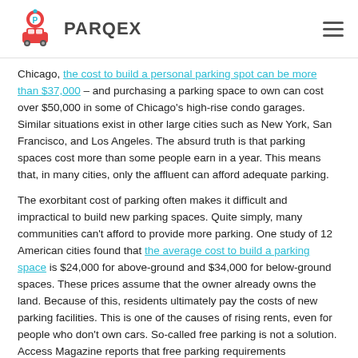PARQEX
Chicago, the cost to build a personal parking spot can be more than $37,000 – and purchasing a parking space to own can cost over $50,000 in some of Chicago's high-rise condo garages. Similar situations exist in other large cities such as New York, San Francisco, and Los Angeles. The absurd truth is that parking spaces cost more than some people earn in a year. This means that, in many cities, only the affluent can afford adequate parking.
The exorbitant cost of parking often makes it difficult and impractical to build new parking spaces. Quite simply, many communities can't afford to provide more parking. One study of 12 American cities found that the average cost to build a parking space is $24,000 for above-ground and $34,000 for below-ground spaces. These prices assume that the owner already owns the land. Because of this, residents ultimately pay the costs of new parking facilities. This is one of the causes of rising rents, even for people who don't own cars. So-called free parking is not a solution. Access Magazine reports that free parking requirements